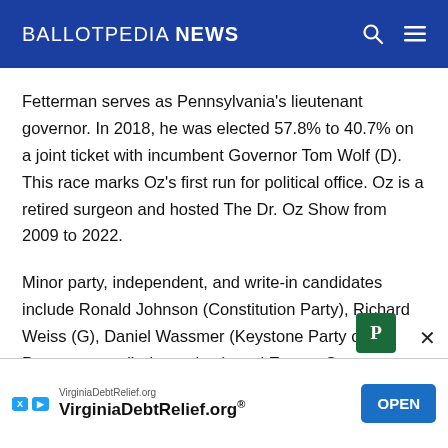BALLOTPEDIA NEWS
Fetterman serves as Pennsylvania's lieutenant governor. In 2018, he was elected 57.8% to 40.7% on a joint ticket with incumbent Governor Tom Wolf (D). This race marks Oz's first run for political office. Oz is a retired surgeon and hosted The Dr. Oz Show from 2009 to 2022.
Minor party, independent, and write-in candidates include Ronald Johnson (Constitution Party), Richard Weiss (G), Daniel Wassmer (Keystone Party of Pennsylvania), (Independent), and Everett Stern (Independent).